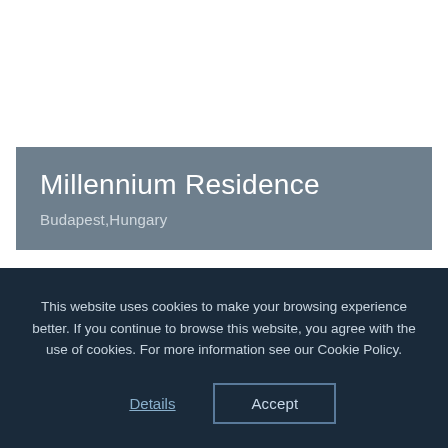Millennium Residence
Budapest,Hungary
This website uses cookies to make your browsing experience better. If you continue to browse this website, you agree with the use of cookies. For more information see our Cookie Policy.
Details
Accept